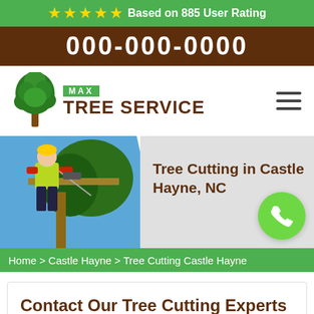★★★★★ Based on 885 User Rating
000-000-0000
[Figure (logo): Max Tree Service logo with green tree icon and brown text]
[Figure (photo): Hero banner with arborist cutting tree on left, text 'Tree Cutting in Castle Hayne, NC' on right with green phone icon circle]
Home > Castle Hayne > Tree Cutting Castle Hayne
Contact Our Tree Cutting Experts For A Estimate On Cutting Tree Roots And Cutting...